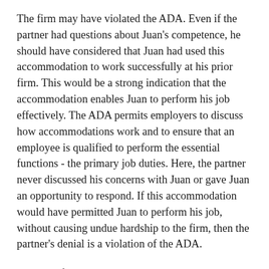The firm may have violated the ADA. Even if the partner had questions about Juan's competence, he should have considered that Juan had used this accommodation to work successfully at his prior firm. This would be a strong indication that the accommodation enables Juan to perform his job effectively. The ADA permits employers to discuss how accommodations work and to ensure that an employee is qualified to perform the essential functions - the primary job duties. Here, the partner never discussed his concerns with Juan or gave Juan an opportunity to respond. If this accommodation would have permitted Juan to perform his job, without causing undue hardship to the firm, then the partner's denial is a violation of the ADA.
The need for reasonable accommodation does not signal an inability to do the job. The purpose of workplace accommodations is to enable attorneys with disabilities